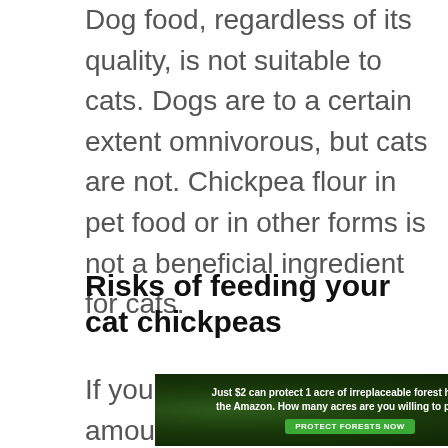Dog food, regardless of its quality, is not suitable to cats. Dogs are to a certain extent omnivorous, but cats are not. Chickpea flour in pet food or in other forms is not a beneficial ingredient for cats.
Risks of feeding your cat chickpeas
If your cat eats a small amount of
[Figure (photo): Advertisement banner with dark forest background. Text reads: 'Just $2 can protect 1 acre of irreplaceable forest homes in the Amazon. How many acres are you willing to protect?' with a green 'PROTECT FORESTS NOW' button.]